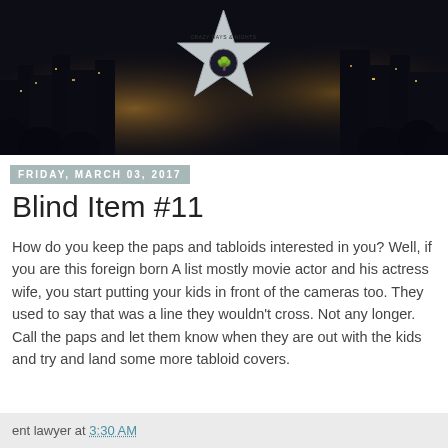[Figure (photo): Header banner with night city skyline and Hollywood Walk of Fame star with blog logo 'Crazy Days & Nights']
FRIDAY, MARCH 03, 2017
Blind Item #11
How do you keep the paps and tabloids interested in you? Well, if you are this foreign born A list mostly movie actor and his actress wife, you start putting your kids in front of the cameras too. They used to say that was a line they wouldn't cross. Not any longer. Call the paps and let them know when they are out with the kids and try and land some more tabloid covers.
ent lawyer at 3:30 AM